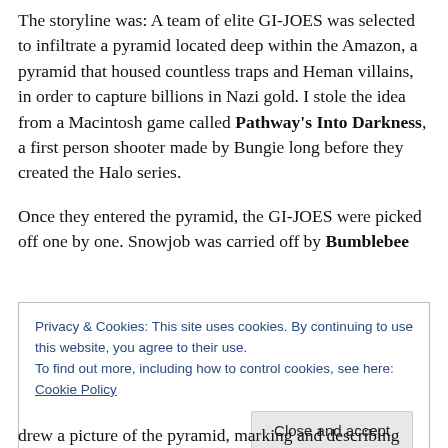The storyline was: A team of elite GI-JOES was selected to infiltrate a pyramid located deep within the Amazon, a pyramid that housed countless traps and Heman villains, in order to capture billions in Nazi gold. I stole the idea from a Macintosh game called Pathway's Into Darkness, a first person shooter made by Bungie long before they created the Halo series.
Once they entered the pyramid, the GI-JOES were picked off one by one. Snowjob was carried off by Bumblebee
Privacy & Cookies: This site uses cookies. By continuing to use this website, you agree to their use.
To find out more, including how to control cookies, see here: Cookie Policy
drew a picture of the pyramid, marking and describing